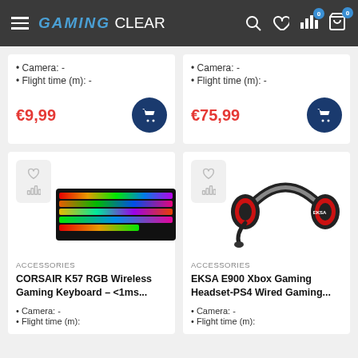GAMING Clear
Camera: -
Flight time (m): -
€9,99
Camera: -
Flight time (m): -
€75,99
[Figure (screenshot): Corsair K57 RGB Wireless Gaming Keyboard product image with rainbow backlight]
ACCESSORIES
CORSAIR K57 RGB Wireless Gaming Keyboard – <1ms...
Camera: -
Flight time (m):
[Figure (screenshot): EKSA E900 Xbox Gaming Headset red and black over-ear gaming headset with microphone]
ACCESSORIES
EKSA E900 Xbox Gaming Headset-PS4 Wired Gaming...
Camera: -
Flight time (m):